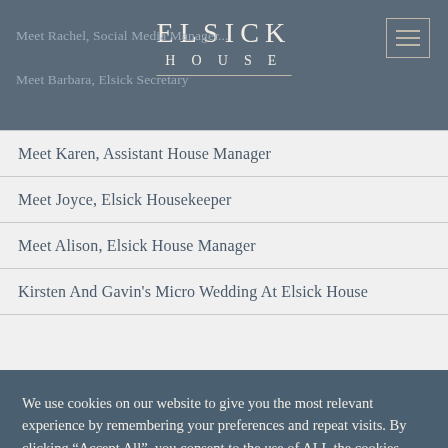ELSICK HOUSE
Meet Rachel, Social Media Manager...
Meet Barbara, Elsick Secretary
Meet Karen, Assistant House Manager
Meet Joyce, Elsick Housekeeper
Meet Alison, Elsick House Manager
Kirsten And Gavin's Micro Wedding At Elsick House
We use cookies on our website to give you the most relevant experience by remembering your preferences and repeat visits. By clicking “Accept All”, you consent to the use of ALL the cookies. However, you may visit "Cookie Settings" to provide a controlled consent.